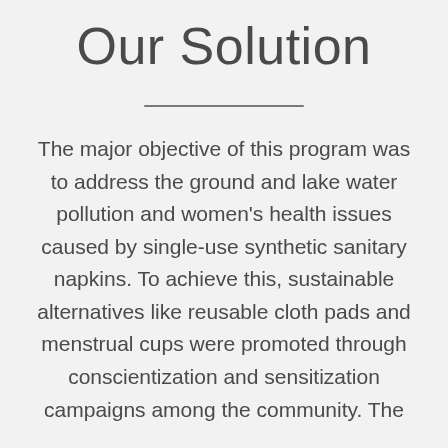Our Solution
The major objective of this program was to address the ground and lake water pollution and women's health issues caused by single-use synthetic sanitary napkins. To achieve this, sustainable alternatives like reusable cloth pads and menstrual cups were promoted through conscientization and sensitization campaigns among the community. The